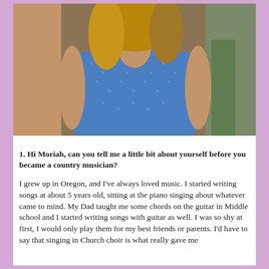[Figure (photo): Photo of a young woman wearing a blue polka dot short-sleeve top, with blonde/brown hair, photographed from approximately waist up. Background shows a wall or furniture.]
1. Hi Moriah, can you tell me a little bit about yourself before you became a country musician? I grew up in Oregon, and I've always loved music. I started writing songs at about 5 years old, sitting at the piano singing about whatever came to mind. My Dad taught me some chords on the guitar in Middle school and I started writing songs with guitar as well. I was so shy at first, I would only play them for my best friends or parents. I'd have to say that singing in Church choir is what really gave me